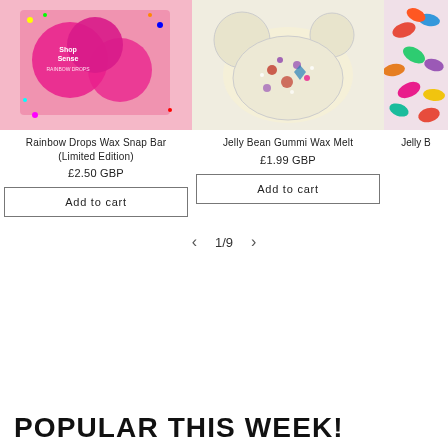[Figure (photo): Rainbow Drops Wax Snap Bar product photo - pink packaging with ShopSense branding and colorful confetti]
Rainbow Drops Wax Snap Bar (Limited Edition)
£2.50 GBP
Add to cart
[Figure (photo): Jelly Bean Gummi Wax Melt - white wax melt in clear container with colorful flower/berry decorations]
Jelly Bean Gummi Wax Melt
£1.99 GBP
Add to cart
[Figure (photo): Jelly Bean product - colorful jelly beans, partially cut off on right edge]
Jelly B
1/9
POPULAR THIS WEEK!